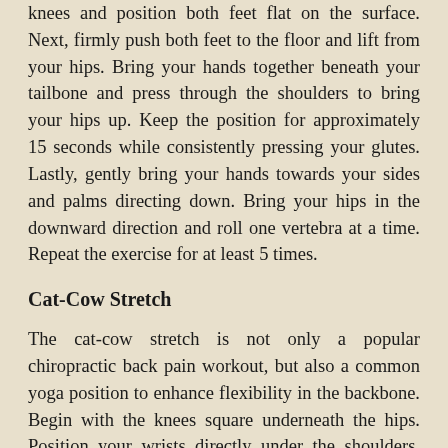knees and position both feet flat on the surface. Next, firmly push both feet to the floor and lift from your hips. Bring your hands together beneath your tailbone and press through the shoulders to bring your hips up. Keep the position for approximately 15 seconds while consistently pressing your glutes. Lastly, gently bring your hands towards your sides and palms directing down. Bring your hips in the downward direction and roll one vertebra at a time. Repeat the exercise for at least 5 times.
Cat-Cow Stretch
The cat-cow stretch is not only a popular chiropractic back pain workout, but also a common yoga position to enhance flexibility in the backbone. Begin with the knees square underneath the hips. Position your wrists directly under the shoulders. Spread the fingers and balance the weight. Make sure you don't put a lot of pressure on the wrists. Now breathe in deeply and push your stomach to the ground while bringing your face up. Try to lift your tailbone upwards and this is it. The next step is breathing out and around your spine, push in your pelvis and arch your back like a cat. Get